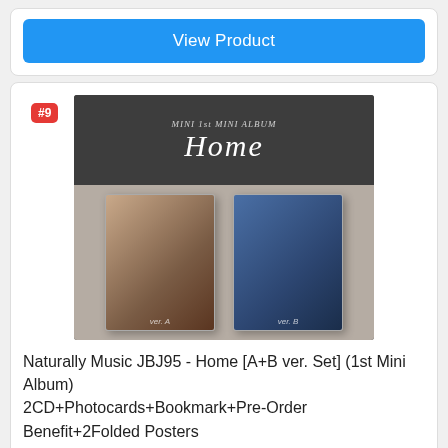View Product
[Figure (photo): JBJ95 Home 1st Mini Album product image showing two album versions (A and B) with dark top banner showing 'Home' in script lettering]
Naturally Music JBJ95 - Home [A+B ver. Set] (1st Mini Album) 2CD+Photocards+Bookmark+Pre-Order Benefit+2Folded Posters
6/10